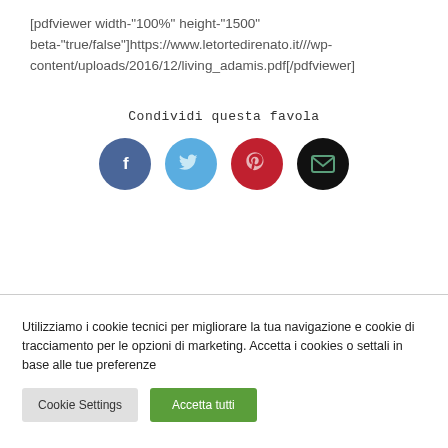[pdfviewer width-"100%" height-"1500" beta-"true/false"]https://www.letortedirenato.it///wp-content/uploads/2016/12/living_adamis.pdf[/pdfviewer]
Condividi questa favola
[Figure (infographic): Four circular social share buttons: Facebook (dark blue, f icon), Twitter (light blue, bird icon), Pinterest (red, p icon), Email (black, envelope icon)]
Utilizziamo i cookie tecnici per migliorare la tua navigazione e cookie di tracciamento per le opzioni di marketing. Accetta i cookies o settali in base alle tue preferenze
Cookie Settings
Accetta tutti